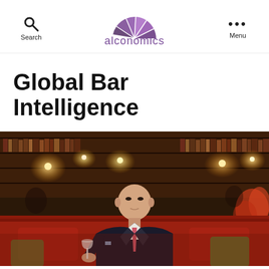Search | alconomics | Menu
Global Bar Intelligence
[Figure (photo): A bald man in a dark suit with a pink tie sits on a red sofa holding a white wine glass. Behind him is a warmly lit bar or library with bookshelves and ambient lighting.]